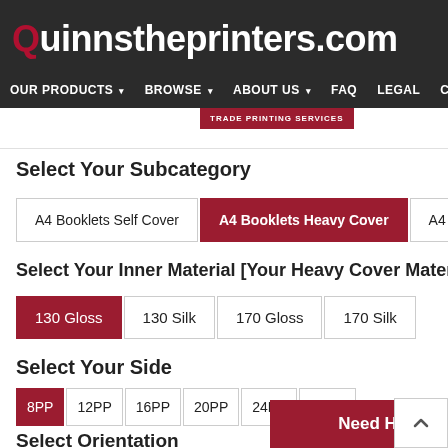Quinnstheprinters.com
OUR PRODUCTS  BROWSE  ABOUT US  FAQ  LEGAL  CO
TRADE PRINTING SERVICES
A4 Booklets:  A4
Select Your Subcategory
A4 Booklets Self Cover
A4 Booklets Heavy Cover
A4 B
Select Your Inner Material [Your Heavy Cover Material is 3
130 Gloss
130 Silk
170 Gloss
170 Silk
Select Your Side
8PP
12PP
16PP
20PP
24PP
28PP
Select Orientation
Need Help?